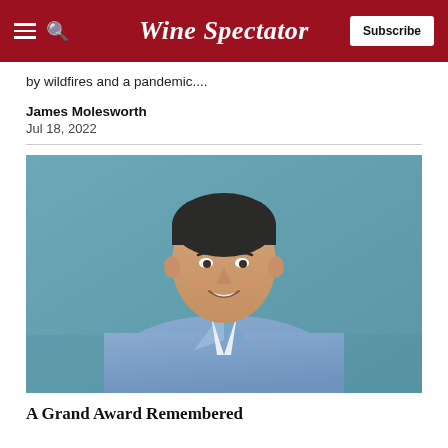Wine Spectator
by wildfires and a pandemic....
James Molesworth
Jul 18, 2022
[Figure (photo): Professional headshot of a middle-aged man with dark hair, wearing a blue pinstripe blazer and white shirt, smiling against a teal/blue-gray background]
A Grand Award Remembered